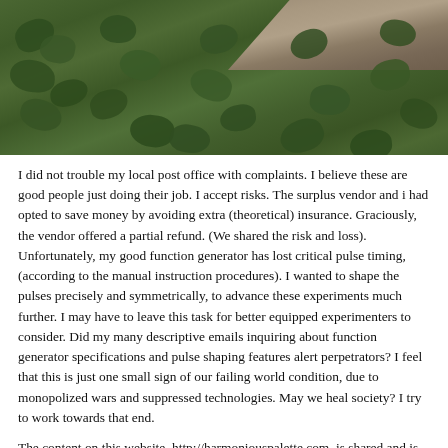[Figure (photo): Photograph of green clover/ivy leaves covering the ground, with a wooden board or beam visible diagonally in the upper right corner.]
I did not trouble my local post office with complaints. I believe these are good people just doing their job. I accept risks. The surplus vendor and i had opted to save money by avoiding extra (theoretical) insurance. Graciously, the vendor offered a partial refund. (We shared the risk and loss). Unfortunately, my good function generator has lost critical pulse timing, (according to the manual instruction procedures). I wanted to shape the pulses precisely and symmetrically, to advance these experiments much further. I may have to leave this task for better equipped experimenters to consider. Did my many descriptive emails inquiring about function generator specifications and pulse shaping features alert perpetrators? I feel that this is just one small sign of our failing world condition, due to monopolized wars and suppressed technologies. May we heal society? I try to work towards that end.
The content on this website, http://harmoniouspalette.com, is shared and is in the open domain, released to the benefit of